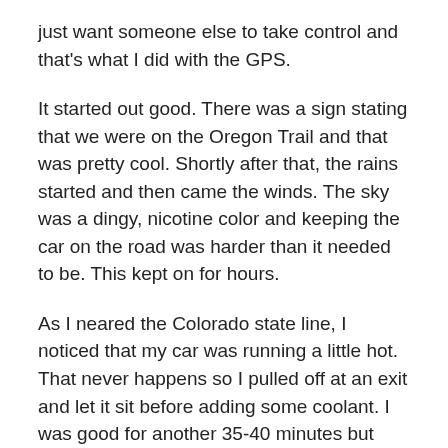just want someone else to take control and that's what I did with the GPS.
It started out good. There was a sign stating that we were on the Oregon Trail and that was pretty cool. Shortly after that, the rains started and then came the winds. The sky was a dingy, nicotine color and keeping the car on the road was harder than it needed to be. This kept on for hours.
As I neared the Colorado state line, I noticed that my car was running a little hot. That never happens so I pulled off at an exit and let it sit before adding some coolant. I was good for another 35-40 minutes but then it started to inch up again.
So I was of to stop at the next city in Elko or CO and...